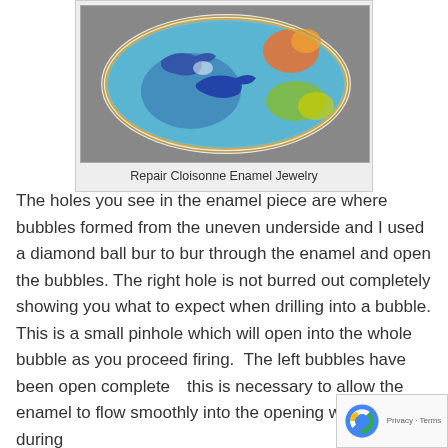[Figure (photo): A decorative cloisonne enamel jewelry piece (oval dish/brooch) with blue background featuring dolphins and colorful fish/sea creatures, displayed on a gray surface.]
Repair Cloisonne Enamel Jewelry
The holes you see in the enamel piece are where bubbles formed from the uneven underside and I used a diamond ball bur to bur through the enamel and open the bubbles. The right hole is not burred out completely showing you what to expect when drilling into a bubble. This is a small pinhole which will open into the whole bubble as you proceed firing.  The left bubbles have been open completely this is necessary to allow the enamel to flow smoothly into the opening while firing during